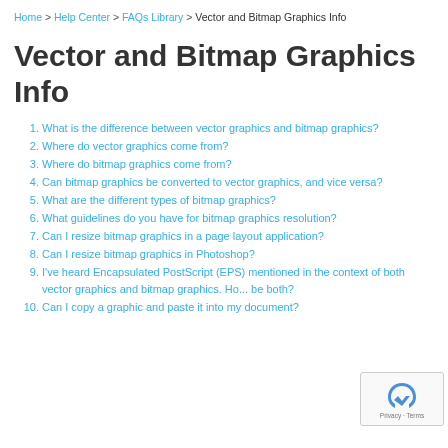Home > Help Center > FAQs Library > Vector and Bitmap Graphics Info
Vector and Bitmap Graphics Info
1. What is the difference between vector graphics and bitmap graphics?
2. Where do vector graphics come from?
3. Where do bitmap graphics come from?
4. Can bitmap graphics be converted to vector graphics, and vice versa?
5. What are the different types of bitmap graphics?
6. What guidelines do you have for bitmap graphics resolution?
7. Can I resize bitmap graphics in a page layout application?
8. Can I resize bitmap graphics in Photoshop?
9. I've heard Encapsulated PostScript (EPS) mentioned in the context of both vector graphics and bitmap graphics. Ho... be both?
10. Can I copy a graphic and paste it into my document?